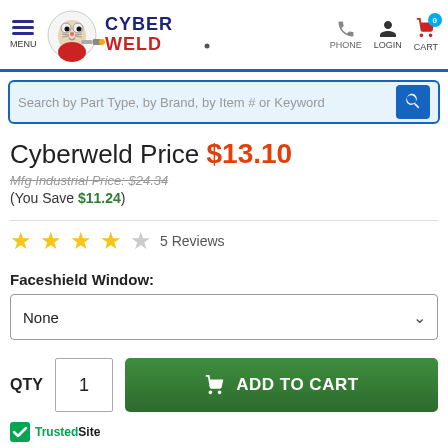[Figure (screenshot): CyberWeld website header with logo, menu, phone, login, and cart icons]
Search by Part Type, by Brand, by Item # or Keyword
Cyberweld Price $13.10
Mfg Industrial Price: $24.34
(You Save $11.24)
5 Reviews
Faceshield Window:
None
QTY  1  ADD TO CART
[Figure (logo): TrustedSite badge with green checkmark]